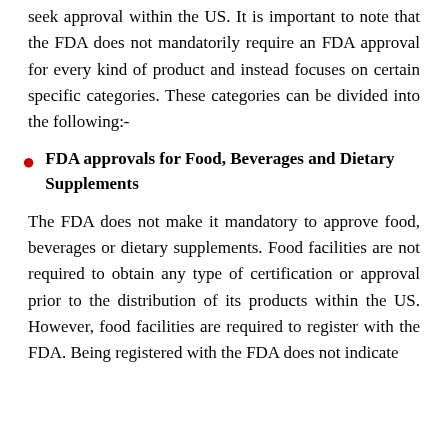seek approval within the US. It is important to note that the FDA does not mandatorily require an FDA approval for every kind of product and instead focuses on certain specific categories. These categories can be divided into the following:-
FDA approvals for Food, Beverages and Dietary Supplements
The FDA does not make it mandatory to approve food, beverages or dietary supplements. Food facilities are not required to obtain any type of certification or approval prior to the distribution of its products within the US. However, food facilities are required to register with the FDA. Being registered with the FDA does not indicate